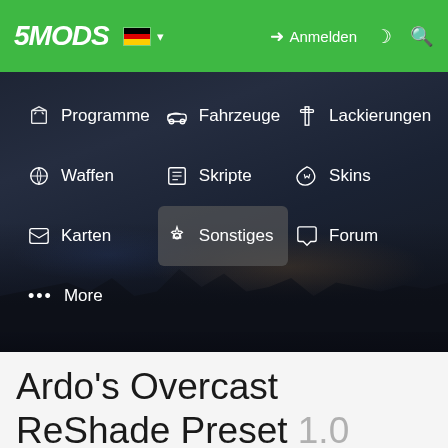5MODS — Anmelden navigation header
[Figure (screenshot): 5Mods website navigation menu with dark blurred city background showing: Programme, Fahrzeuge, Lackierungen, Waffen, Skripte, Skins, Karten, Sonstiges (highlighted), Forum, More]
Ardo's Overcast ReShade Preset 1.0